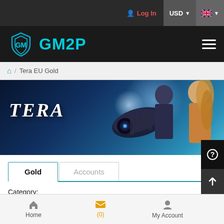Log In  USD  [UK Flag]
[Figure (logo): GM2P logo with shield icon and teal text, hamburger menu on right]
Home / Tera EU Gold
[Figure (illustration): Tera game banner with blue sci-fi background, TERA logo text, armored characters]
Gold	Accounts
Category:
Select Server
Home  (0)  My Account